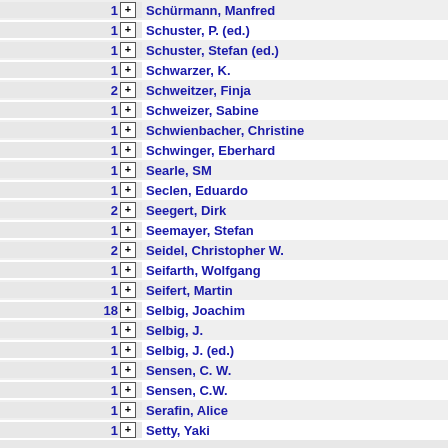1 Schürmann, Manfred
1 Schuster, P. (ed.)
1 Schuster, Stefan (ed.)
1 Schwarzer, K.
2 Schweitzer, Finja
1 Schweizer, Sabine
1 Schwienbacher, Christine
1 Schwinger, Eberhard
1 Searle, SM
1 Seclen, Eduardo
2 Seegert, Dirk
1 Seemayer, Stefan
2 Seidel, Christopher W.
1 Seifarth, Wolfgang
1 Seifert, Martin
18 Selbig, Joachim
1 Selbig, J.
1 Selbig, J. (ed.)
1 Sensen, C. W.
1 Sensen, C.W.
1 Serafin, Alice
1 Setty, Yaki